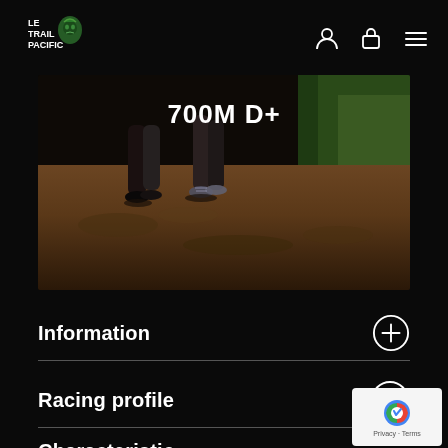Le Trail Pacific — navigation header
[Figure (photo): Hero image showing trail runners' legs and feet on muddy dirt trail path, with text overlay '700M D+']
700M D+
Information
Racing profile
Characteristic